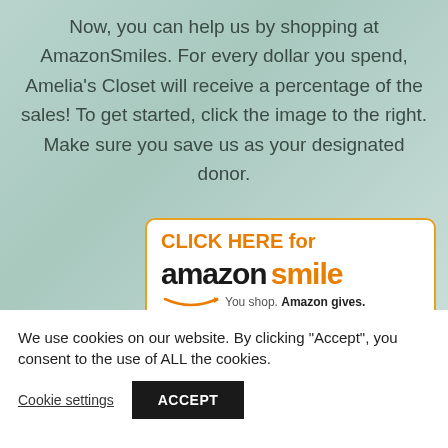Now, you can help us by shopping at AmazonSmiles. For every dollar you spend, Amelia's Closet will receive a percentage of the sales! To get started, click the image to the right. Make sure you save us as your designated donor.
[Figure (logo): AmazonSmile promotional banner with orange border, 'CLICK HERE for' text in orange, Amazon Smile logo with arrow, tagline 'You shop. Amazon gives.']
We use cookies on our website. By clicking "Accept", you consent to the use of ALL the cookies.
Cookie settings   ACCEPT